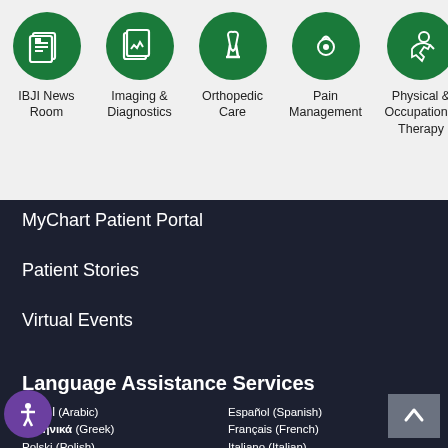[Figure (infographic): Row of green circular icons for medical services: IBJI News Room, Imaging & Diagnostics, Orthopedic Care, Pain Management, Physical & Occupational Therapy, and a partially visible sixth icon]
MyChart Patient Portal
Patient Stories
Virtual Events
Language Assistance Services
العربية (Arabic)
Ελληνικά (Greek)
Polski (Polish)
中文(Chinese)
ગુજરાતી (Gujarati)
Русский (Russian)
Tagalog (Filipino)
Español (Spanish)
Français (French)
Italiano (Italian)
رڈو (Urdu)
Deutsch (German)
한국어 (Korean)
Tiếng Việt (Vietnamese)